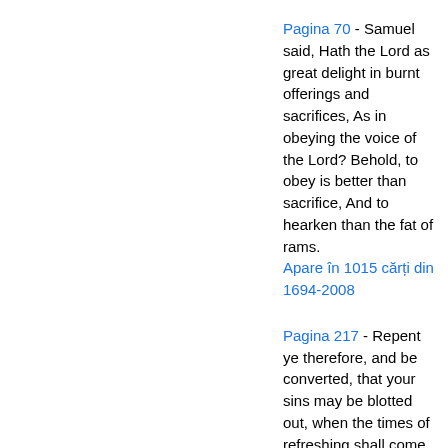Pagina 70 - Samuel said, Hath the Lord as great delight in burnt offerings and sacrifices, As in obeying the voice of the Lord? Behold, to obey is better than sacrifice, And to hearken than the fat of rams. Apare în 1015 cărți din 1694-2008
Pagina 217 - Repent ye therefore, and be converted, that your sins may be blotted out, when the times of refreshing shall come from the presence of the Lord ; and he shall send Jesus Christ, which before was preached unto you :